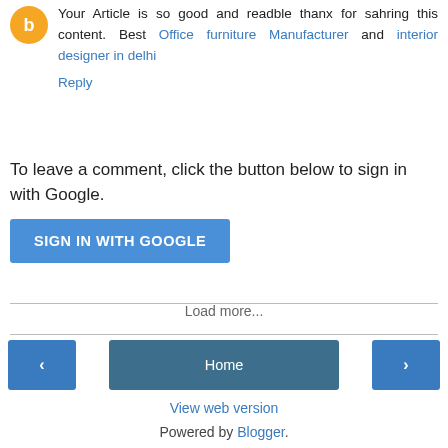Your Article is so good and readble thanx for sahring this content. Best Office furniture Manufacturer and interior designer in delhi
Reply
To leave a comment, click the button below to sign in with Google.
SIGN IN WITH GOOGLE
Load more...
Home
View web version
Powered by Blogger.